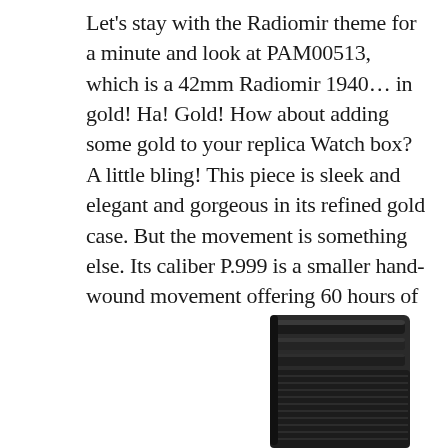Let's stay with the Radiomir theme for a minute and look at PAM00513, which is a 42mm Radiomir 1940… in gold! Ha! Gold! How about adding some gold to your replica Watch box? A little bling! This piece is sleek and elegant and gorgeous in its refined gold case. But the movement is something else. Its caliber P.999 is a smaller hand-wound movement offering 60 hours of power reserve while allowing for a slimmer case. This, my friends, is the Panerai for the refined replica Watch lover. Wow!
[Figure (photo): Close-up black and white photo of a watch strap or case, showing dark ridged/grooved black rubber or leather strap texture against a white background.]